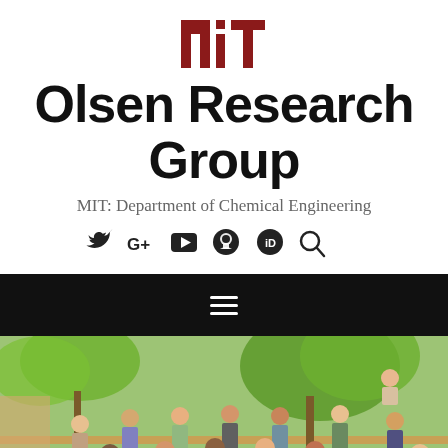[Figure (logo): MIT logo in red - stylized letters MIT with architectural pillar motif]
Olsen Research Group
MIT: Department of Chemical Engineering
[Figure (other): Social media icons row: Twitter bird, Google+, YouTube play button, GitHub octocat, ORCID iD, Search magnifier]
[Figure (other): Black navigation bar with white hamburger menu icon]
[Figure (photo): Group photo of research group members standing outdoors on steps with green trees in background]